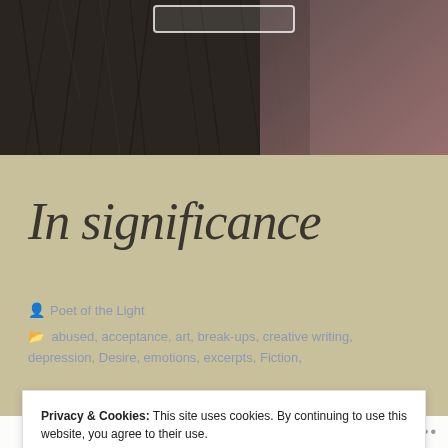[Figure (photo): Hero banner image showing dark furry texture on left merging into a muted reddish-brown gradient on the right, with a search box outline at the top center]
In significance
Poet of the Light
abused, acceptance, art, break-ups, creative writing, depression, Desire, emotions, excerpts, Fiction,
Privacy & Cookies: This site uses cookies. By continuing to use this website, you agree to their use.
To find out more, including how to control cookies, see here: Cookie Policy
Close and accept
Follow